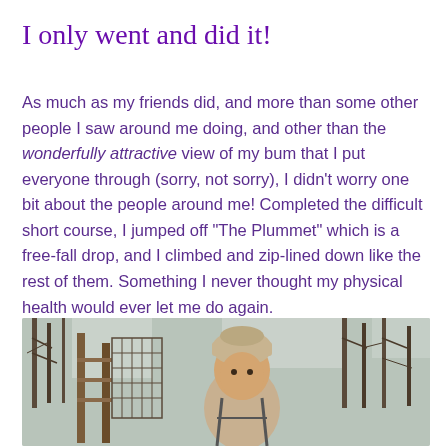I only went and did it!
As much as my friends did, and more than some other people I saw around me doing, and other than the wonderfully attractive view of my bum that I put everyone through (sorry, not sorry), I didn't worry one bit about the people around me! Completed the difficult short course, I jumped off “The Plummet” which is a free-fall drop, and I climbed and zip-lined down like the rest of them. Something I never thought my physical health would ever let me do again.
[Figure (photo): Person standing in a forest ropes course/adventure park setting, wearing a knitted hat and harness, with wooden platforms and bare trees visible in the background on a grey overcast day.]